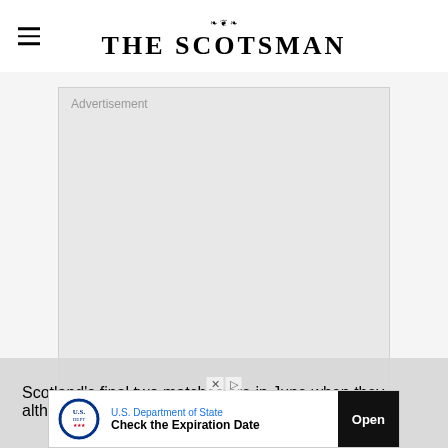THE SCOTSMAN
[Figure (other): Advertisement placeholder box with 'Advertisement' label, light grey background]
Scotland's final two matches are in June when they although they'll be most likely playing for